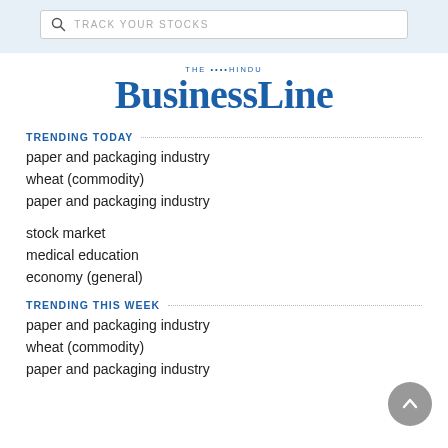TRACK YOUR STOCKS
[Figure (logo): The Hindu BusinessLine logo in blue serif font]
TRENDING TODAY
paper and packaging industry
wheat (commodity)
paper and packaging industry
stock market
medical education
economy (general)
TRENDING THIS WEEK
paper and packaging industry
wheat (commodity)
paper and packaging industry